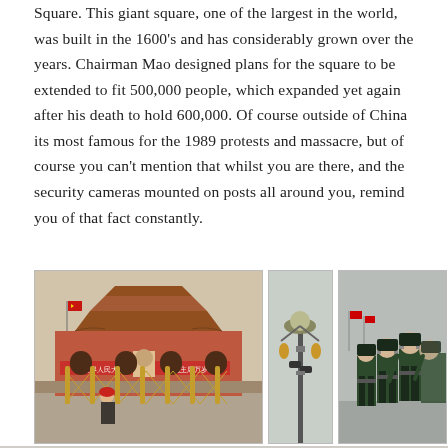Square. This giant square, one of the largest in the world, was built in the 1600's and has considerably grown over the years. Chairman Mao designed plans for the square to be extended to fit 500,000 people, which expanded yet again after his death to hold 600,000. Of course outside of China its most famous for the 1989 protests and massacre, but of course you can't mention that whilst you are there, and the security cameras mounted on posts all around you, remind you of that fact constantly.
[Figure (photo): Photo of Tiananmen Gate with security barriers and a guard in a red beret in the foreground]
[Figure (photo): Photo of an ornate lamppost with security cameras mounted on it in Tiananmen Square]
[Figure (photo): Photo of a column of Chinese soldiers in green uniforms and black hats marching in formation]